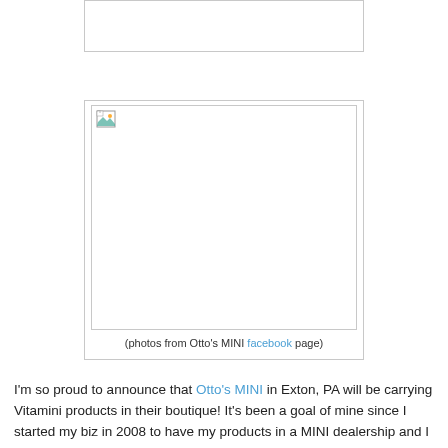[Figure (photo): Top image placeholder box (image not loaded)]
[Figure (photo): Photo from Otto's MINI facebook page (image not loaded), with caption: (photos from Otto's MINI facebook page)]
(photos from Otto's MINI facebook page)
I'm so proud to announce that Otto's MINI in Exton, PA will be carrying Vitamini products in their boutique! It's been a goal of mine since I started my biz in 2008 to have my products in a MINI dealership and I can't be more thrilled. If you are in the Exton, PA area, please do stop in to their boutique...